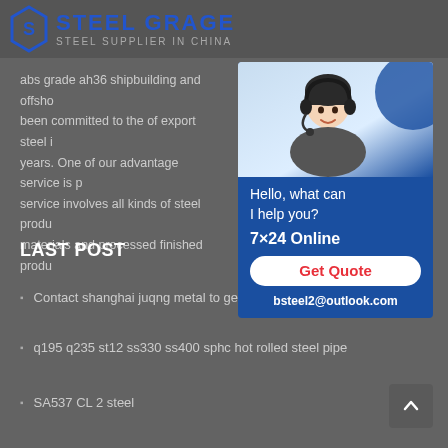STEEL GRAGE — STEEL SUPPLIER IN CHINA
abs grade ah36 shipbuilding and offsh... been committed to the of export steel i... years. One of our advantage service is p... service involves all kinds of steel produ... materials and processed finished produ...
[Figure (photo): Customer service representative wearing headset, with chat widget showing Hello, what can I help you?, 7×24 Online, Get Quote button, and bsteel2@outlook.com contact]
LAST POST
Contact shanghai juqng metal to get
q195 q235 st12 ss330 ss400 sphc hot rolled steel pipe
SA537 CL 2 steel